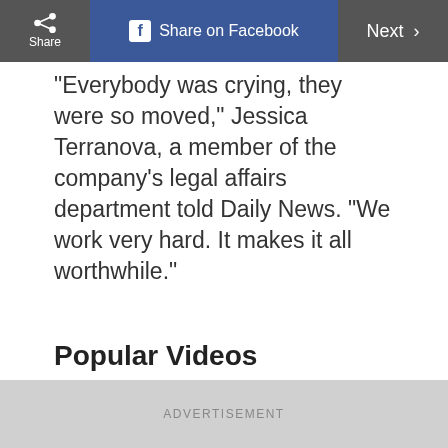Share | Share on Facebook | Next
"Everybody was crying, they were so moved," Jessica Terranova, a member of the company's legal affairs department told Daily News. "We work very hard. It makes it all worthwhile."
Popular Videos
[Figure (other): Black video player with a white play button in the center]
ADVERTISEMENT